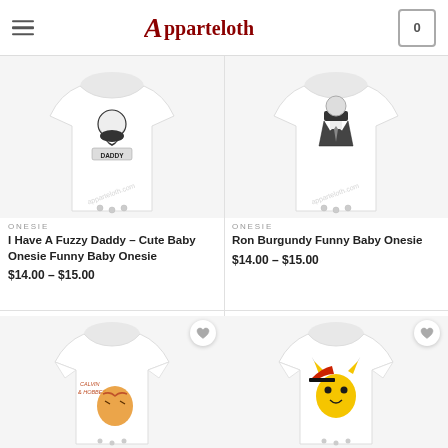Apparteloth
[Figure (photo): White baby onesie with Fuzzy Daddy design - bearded man graphic with DADDY text]
ONESIE
I Have A Fuzzy Daddy – Cute Baby Onesie Funny Baby Onesie
$14.00 – $15.00
[Figure (photo): White baby onesie with Ron Burgundy design - suited man graphic]
ONESIE
Ron Burgundy Funny Baby Onesie
$14.00 – $15.00
[Figure (photo): White baby onesie with Calvin and Hobbes design - partial view]
[Figure (photo): White baby onesie with Pokemon Pikachu and Ash design - partial view]